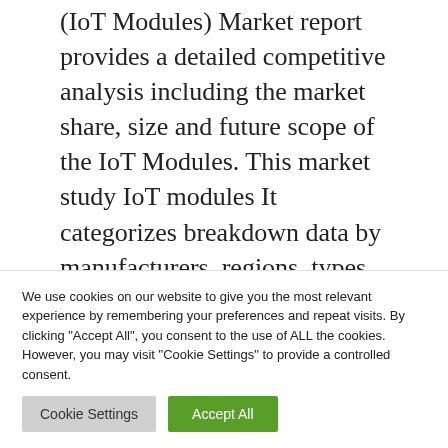(IoT Modules) Market report provides a detailed competitive analysis including the market share, size and future scope of the IoT Modules. This market study IoT modules It categorizes breakdown data by manufacturers, regions, types, and applications, and also … Read more
IOT
Leave a comment
We use cookies on our website to give you the most relevant experience by remembering your preferences and repeat visits. By clicking "Accept All", you consent to the use of ALL the cookies. However, you may visit "Cookie Settings" to provide a controlled consent.